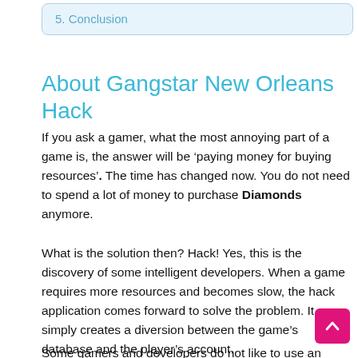5. Conclusion
About Gangstar New Orleans Hack
If you ask a gamer, what the most annoying part of a game is, the answer will be ‘paying money for buying resources’. The time has changed now. You do not need to spend a lot of money to purchase Diamonds anymore.
What is the solution then? Hack! Yes, this is the discovery of some intelligent developers. When a game requires more resources and becomes slow, the hack application comes forward to solve the problem. It simply creates a diversion between the game’s database and the player’s account.
Some gamers and developers do not like to use an additional tool for generating resources. But you should consider one fact. A big portion of the gamer is a student. They hardly get money from their parents. The craze of the game should not be stopped due to lack of money. This is